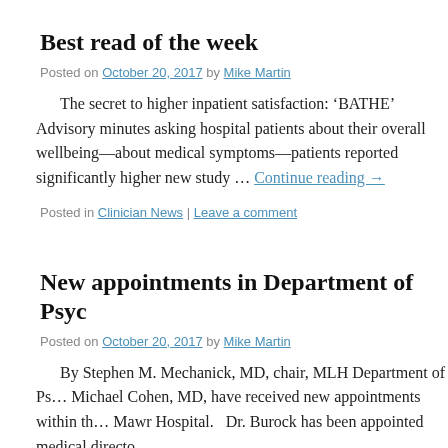Best read of the week
Posted on October 20, 2017 by Mike Martin
The secret to higher inpatient satisfaction: ‘BATHE’ Advisory minutes asking hospital patients about their overall wellbeing—about medical symptoms—patients reported significantly higher new study … Continue reading →
Posted in Clinician News | Leave a comment
New appointments in Department of Psyc…
Posted on October 20, 2017 by Mike Martin
By Stephen M. Mechanick, MD, chair, MLH Department of Ps… Michael Cohen, MD, have received new appointments within th… Mawr Hospital.   Dr. Burock has been appointed medical directo…
Posted in Clinician News | Tagged Bryn Mawr Hospital | Leave a comment